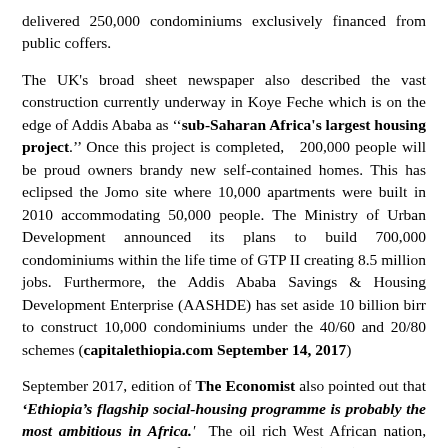delivered 250,000 condominiums exclusively financed from public coffers.
The UK's broad sheet newspaper also described the vast construction currently underway in Koye Feche which is on the edge of Addis Ababa as ''sub-Saharan Africa's largest housing project.'' Once this project is completed,  200,000 people will be proud owners brandy new self-contained homes. This has eclipsed the Jomo site where 10,000 apartments were built in 2010 accommodating 50,000 people. The Ministry of Urban Development announced its plans to build 700,000 condominiums within the life time of GTP II creating 8.5 million jobs. Furthermore, the Addis Ababa Savings & Housing Development Enterprise (AASHDE) has set aside 10 billion birr to construct 10,000 condominiums under the 40/60 and 20/80 schemes (capitalethiopia.com September 14, 2017)
September 2017, edition of The Economist also pointed out that 'Ethiopia's flagship social-housing programme is probably the most ambitious in Africa.' The oil rich West African nation, Nigeria, with a GDP of 405.1 billion USD (2016), can only manage to build 100,000 new houses annually which is well short of the annual demand of 700,000. In Kenya the demand is 200,000 while supply of new homes is only 50,000 (Constructionrevewonline.com). Another petroleum producing